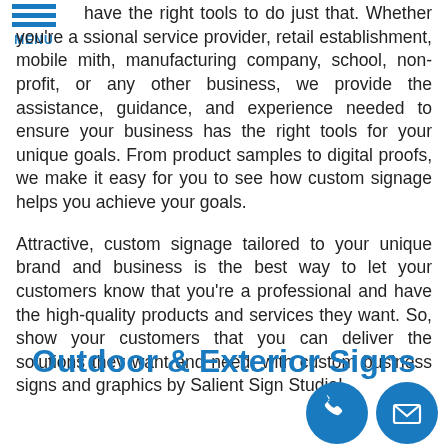[Figure (logo): Hamburger menu icon with three blue horizontal bars and 'MENU' text in blue below]
have the right tools to do just that. Whether you're a ssional service provider, retail establishment, mobile mith, manufacturing company, school, non-profit, or any other business, we provide the assistance, guidance, and experience needed to ensure your business has the right tools for your unique goals. From product samples to digital proofs, we make it easy for you to see how custom signage helps you achieve your goals.
Attractive, custom signage tailored to your unique brand and business is the best way to let your customers know that you're a professional and have the high-quality products and services they want. So, show your customers that you can deliver the solutions they want and need, with custom business signs and graphics by Salient Sign Studio!
Outdoor & Exterior Signs
[Figure (illustration): Two blue circular icons at bottom right: a phone/call icon and an envelope/email icon]